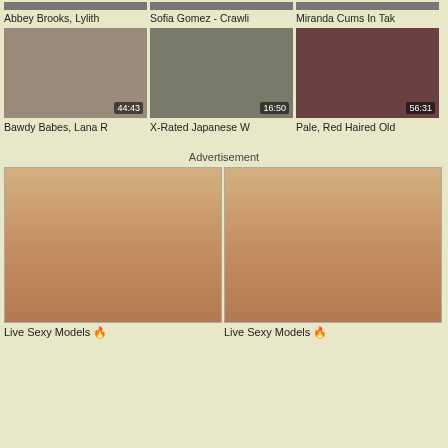[Figure (screenshot): Top row partial video thumbnails with titles: Abbey Brooks, Lylith | Sofia Gomez - Crawli | Miranda Cums In Tak]
Abbey Brooks, Lylith
Sofia Gomez - Crawli
Miranda Cums In Tak
[Figure (screenshot): Second row video thumbnails: Bawdy Babes, Lana R (44:43), X-Rated Japanese W (16:50), Pale, Red Haired Old (56:31)]
Bawdy Babes, Lana R
X-Rated Japanese W
Pale, Red Haired Old
Advertisement
[Figure (photo): Left advertisement image showing adult content]
Live Sexy Models 🔥
[Figure (photo): Right advertisement image showing adult content]
Live Sexy Models 🔥